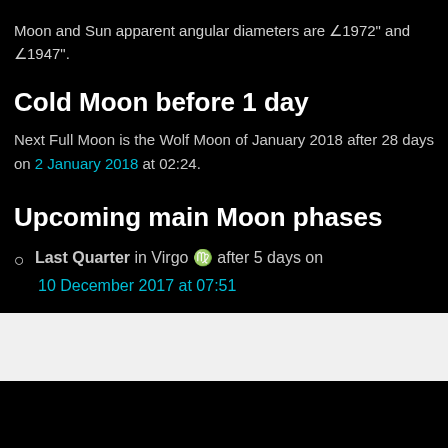Moon and Sun apparent angular diameters are ∠1972" and ∠1947".
Cold Moon before 1 day
Next Full Moon is the Wolf Moon of January 2018 after 28 days on 2 January 2018 at 02:24.
Upcoming main Moon phases
Last Quarter in Virgo ♍ after 5 days on 10 December 2017 at 07:51